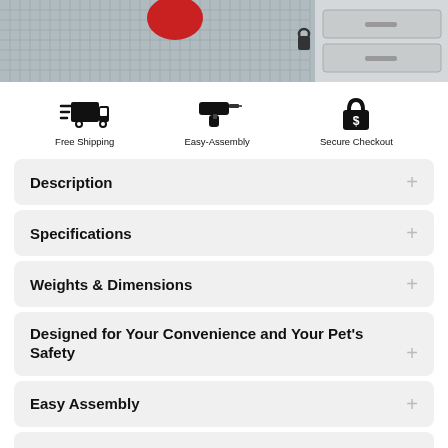[Figure (photo): Top banner image showing a pet cage/coop with wire mesh and a red element, plus a cabinet in the background]
[Figure (infographic): Three icons row: Free Shipping (delivery truck), Easy-Assembly (power drill), Secure Checkout (padlock with dollar sign)]
Description
Specifications
Weights & Dimensions
Designed for Your Convenience and Your Pet's Safety
Easy Assembly
Shipping & Return